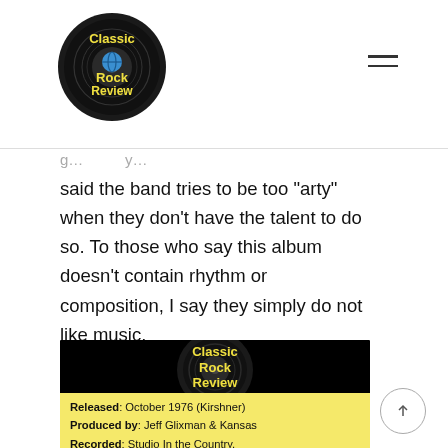Classic Rock Review
said the band tries to be too “arty” when they don’t have the talent to do so. To those who say this album doesn’t contain rhythm or composition, I say they simply do not like music.
[Figure (logo): Classic Rock Review logo with vinyl record and album info panel showing: Leftoverture by Kansas. Released: October 1976 (Kirshner). Produced by: Jeff Glixman & Kansas. Recorded: Studio In the Country, Bogalusa, LA, 1975-1976.]